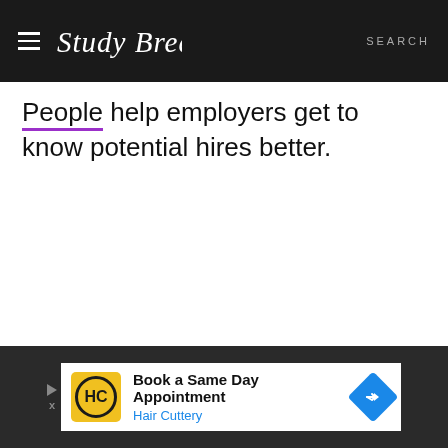Study Breaks | SEARCH
People help employers get to know potential hires better.
[Figure (infographic): Advertisement banner: Book a Same Day Appointment - Hair Cuttery, with HC logo and blue navigation arrow icon]